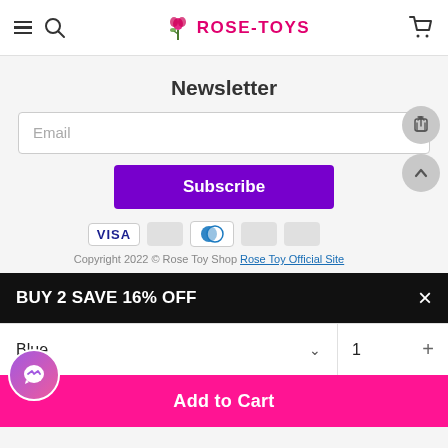ROSE-TOYS
Newsletter
Email
Subscribe
VISA
Copyright 2022 © Rose Toy Shop Rose Toy Official Site
BUY 2 SAVE 16% OFF
Blue
1
Add to Cart